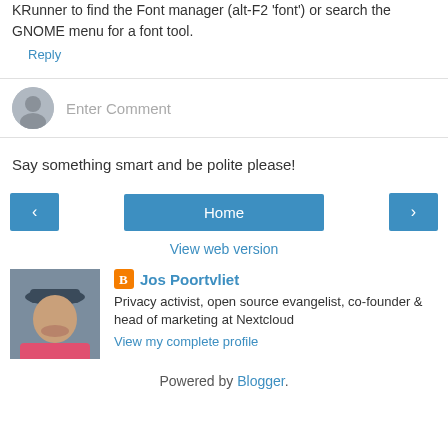KRunner to find the Font manager (alt-F2 'font') or search the GNOME menu for a font tool.
Reply
Enter Comment
Say something smart and be polite please!
‹
Home
›
View web version
[Figure (photo): Author photo of Jos Poortvliet wearing a hat]
Jos Poortvliet
Privacy activist, open source evangelist, co-founder & head of marketing at Nextcloud
View my complete profile
Powered by Blogger.